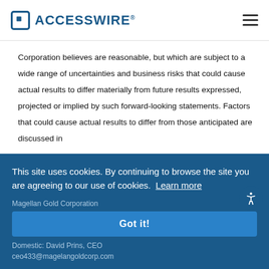ACCESSWIRE®
Corporation believes are reasonable, but which are subject to a wide range of uncertainties and business risks that could cause actual results to differ materially from future results expressed, projected or implied by such forward-looking statements. Factors that could cause actual results to differ from those anticipated are discussed in Magellan Gold Corporation's periodic filings with the Securities and
This site uses cookies. By continuing to browse the site you are agreeing to our use of cookies. Learn more
Magellan Gold Corporation
Domestic: David Prins, CEO
ceo433@magelangoldcorp.com